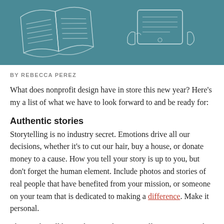[Figure (illustration): Teal/blue-green illustrated banner showing a hand-drawn open book on the left and a hand holding a tablet/device on the right, on a teal background.]
BY REBECCA PEREZ
What does nonprofit design have in store this new year? Here's my a list of what we have to look forward to and be ready for:
Authentic stories
Storytelling is no industry secret. Emotions drive all our decisions, whether it's to cut our hair, buy a house, or donate money to a cause. How you tell your story is up to you, but don't forget the human element. Include photos and stories of real people that have benefited from your mission, or someone on your team that is dedicated to making a difference. Make it personal.
This is what I'll be working on this year. Telling my story, why I do what I do, and why I believe design can